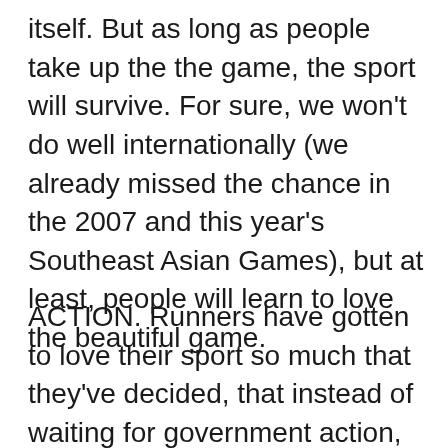itself. But as long as people take up the the game, the sport will survive. For sure, we won't do well internationally (we already missed the chance in the 2007 and this year's Southeast Asian Games), but at least, people will learn to love the beautiful game.
ACTION. Runners have gotten to love their sport so much that they've decided, that instead of waiting for government action, they'll start the initiative.